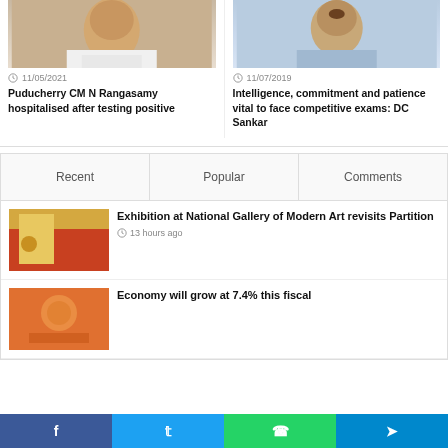[Figure (photo): Photo of Puducherry CM N Rangasamy]
11/05/2021
Puducherry CM N Rangasamy hospitalised after testing positive
[Figure (photo): Photo of DC Sankar]
11/07/2019
Intelligence, commitment and patience vital to face competitive exams: DC Sankar
Recent
Popular
Comments
[Figure (photo): Photo for Exhibition at National Gallery of Modern Art article]
Exhibition at National Gallery of Modern Art revisits Partition
13 hours ago
[Figure (photo): Photo for Economy article]
Economy will grow at 7.4% this fiscal